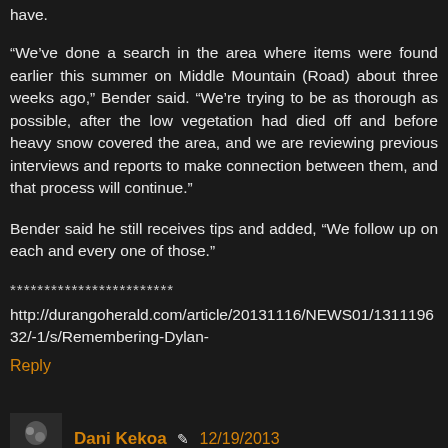have.
“We’ve done a search in the area where items were found earlier this summer on Middle Mountain (Road) about three weeks ago,” Bender said. “We’re trying to be as thorough as possible, after the low vegetation had died off and before heavy snow covered the area, and we are reviewing previous interviews and reports to make connection between them, and that process will continue.”
Bender said he still receives tips and added, “We follow up on each and every one of those.”
************************
http://durangoherald.com/article/20131116/NEWS01/131119632/-1/s/Remembering-Dylan-
Reply
Dani Kekoa • 12/19/2013
Arapahoe High School Shooting happened on Friday the 13th 12/13/13 - Nearly one year to the day from Sandy